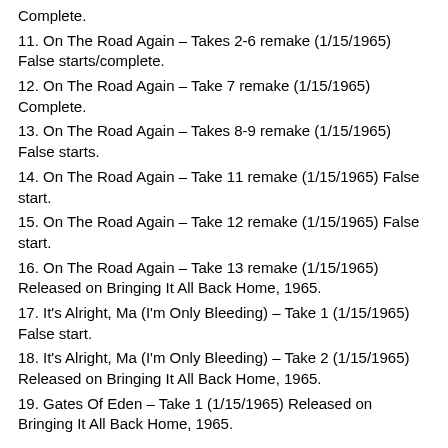Complete.
11. On The Road Again – Takes 2-6 remake (1/15/1965) False starts/complete.
12. On The Road Again – Take 7 remake (1/15/1965) Complete.
13. On The Road Again – Takes 8-9 remake (1/15/1965) False starts.
14. On The Road Again – Take 11 remake (1/15/1965) False start.
15. On The Road Again – Take 12 remake (1/15/1965) False start.
16. On The Road Again – Take 13 remake (1/15/1965) Released on Bringing It All Back Home, 1965.
17. It's Alright, Ma (I'm Only Bleeding) – Take 1 (1/15/1965) False start.
18. It's Alright, Ma (I'm Only Bleeding) – Take 2 (1/15/1965) Released on Bringing It All Back Home, 1965.
19. Gates Of Eden – Take 1 (1/15/1965) Released on Bringing It All Back Home, 1965.